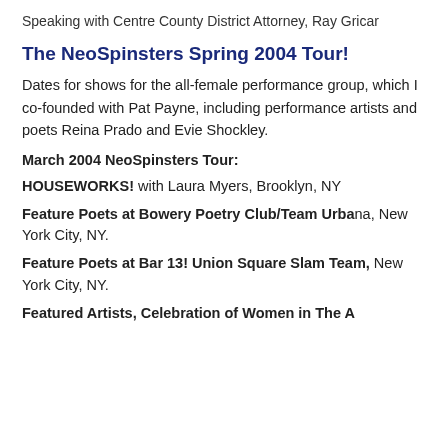Speaking with Centre County District Attorney, Ray Gricar
The NeoSpinsters Spring 2004 Tour!
Dates for shows for the all-female performance group, which I co-founded with Pat Payne, including performance artists and poets Reina Prado and Evie Shockley.
March 2004 NeoSpinsters Tour:
HOUSEWORKS! with Laura Myers, Brooklyn, NY
Feature Poets at Bowery Poetry Club/Team Urbana, New York City, NY.
Feature Poets at Bar 13! Union Square Slam Team, New York City, NY.
Featured Artists, Celebration of Women in The A...